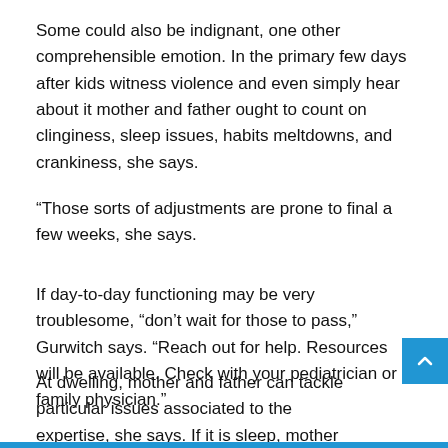Some could also be indignant, one other comprehensible emotion. In the primary few days after kids witness violence and even simply hear about it mother and father ought to count on clinginess, sleep issues, habits meltdowns, and crankiness, she says.
“Those sorts of adjustments are prone to final a few weeks, she says.
If day-to-day functioning may be very troublesome, “don’t wait for those to pass,” Gurwitch says. “Reach out for help. Resources will be available. Check with your pediatrician or family physician.”
At dwelling, mother and father can tackle particular issues associated to the expertise, she says. If it is sleep, mother and father and youngsters can work collectively to determine how